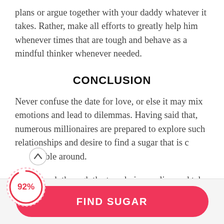plans or argue together with your daddy whatever it takes. Rather, make all efforts to greatly help him whenever times that are tough and behave as a mindful thinker whenever needed.
CONCLUSION
Never confuse the date for love, or else it may mix emotions and lead to dilemmas. Having said that, numerous millionaires are prepared to explore such relationships and desire to find a sugar that is compatible around.
[Figure (other): A circular scroll-up arrow UI button element]
[Figure (donut-chart): A circular percentage indicator showing 92% in pink/red dashed circle outline]
ook through the top choices online and take the ones you like if you are in an unknown city or state and
FIND SUGAR